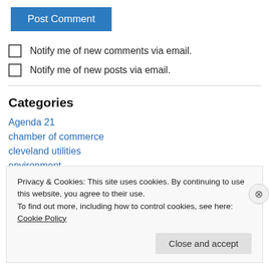Post Comment
Notify me of new comments via email.
Notify me of new posts via email.
Categories
Agenda 21
chamber of commerce
cleveland utilities
environment
Privacy & Cookies: This site uses cookies. By continuing to use this website, you agree to their use. To find out more, including how to control cookies, see here: Cookie Policy
Close and accept